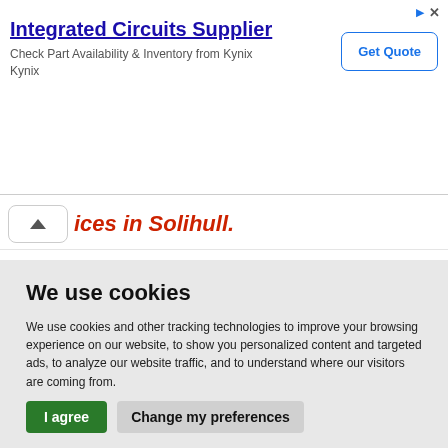[Figure (screenshot): Advertisement banner for Integrated Circuits Supplier by Kynix, with 'Get Quote' button, arrow and close icons top-right]
ices in Solihull.
We use cookies
We use cookies and other tracking technologies to improve your browsing experience on our website, to show you personalized content and targeted ads, to analyze our website traffic, and to understand where our visitors are coming from.
I agree   Change my preferences